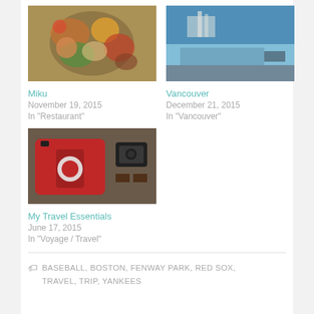[Figure (photo): Food/sashimi plate with colorful ingredients]
Miku
November 19, 2015
In "Restaurant"
[Figure (photo): Vancouver waterfront panorama with mountains and sky]
Vancouver
December 21, 2015
In "Vancouver"
[Figure (photo): Red travel bag with camera and accessories laid flat on wooden surface]
My Travel Essentials
June 17, 2015
In "Voyage / Travel"
BASEBALL, BOSTON, FENWAY PARK, RED SOX, TRAVEL, TRIP, YANKEES